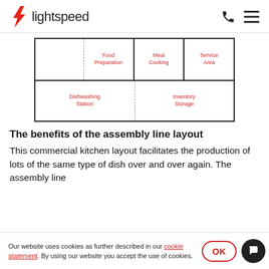lightspeed
[Figure (schematic): Assembly line kitchen layout diagram showing two rows of zones. Top row: Food Preparation, Meal Cooking, Service Area. Bottom row: Dishwashing Station, Inventory Storage.]
The benefits of the assembly line layout
This commercial kitchen layout facilitates the production of lots of the same type of dish over and over again. The assembly line
Our website uses cookies as further described in our cookie statement. By using our website you accept the use of cookies.